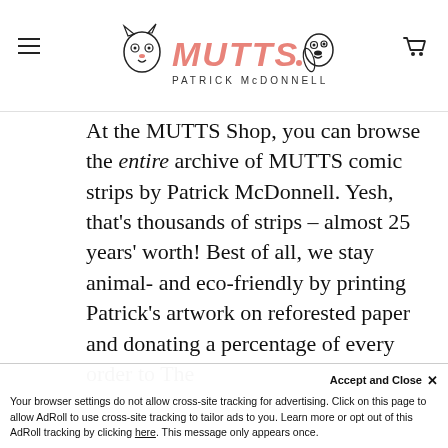MUTTS — Patrick McDonnell (website header with logo)
At the MUTTS Shop, you can browse the entire archive of MUTTS comic strips by Patrick McDonnell. Yesh, that's thousands of strips – almost 25 years' worth! Best of all, we stay animal- and eco-friendly by printing Patrick's artwork on reforested paper and donating a percentage of every order to The
Accept and Close ×
Your browser settings do not allow cross-site tracking for advertising. Click on this page to allow AdRoll to use cross-site tracking to tailor ads to you. Learn more or opt out of this AdRoll tracking by clicking here. This message only appears once.